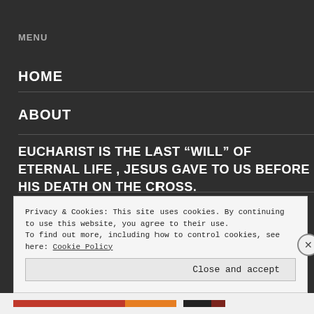MENU
HOME
ABOUT
EUCHARIST IS THE LAST “WILL” OF ETERNAL LIFE , JESUS GAVE TO US BEFORE HIS DEATH ON THE CROSS.
GOOD FRIDAY – CELEBRATION OF THE LORD’S PASSION
Privacy & Cookies: This site uses cookies. By continuing to use this website, you agree to their use.
To find out more, including how to control cookies, see here: Cookie Policy
Close and accept